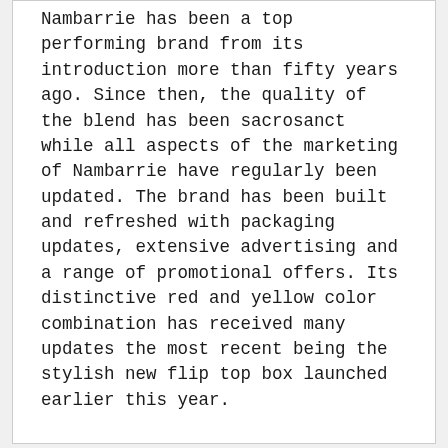Nambarrie has been a top performing brand from its introduction more than fifty years ago. Since then, the quality of the blend has been sacrosanct while all aspects of the marketing of Nambarrie have regularly been updated. The brand has been built and refreshed with packaging updates, extensive advertising and a range of promotional offers. Its distinctive red and yellow color combination has received many updates the most recent being the stylish new flip top box launched earlier this year.
Customer Reviews
★★★★★ Based on 41 reviews
Ask a question